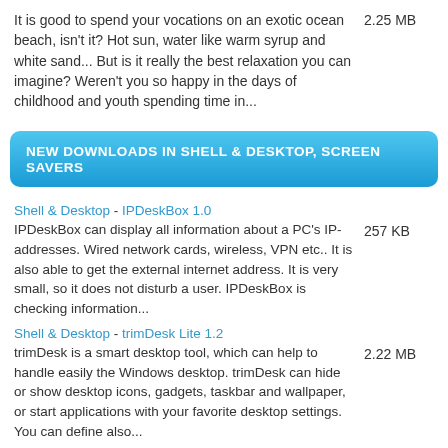It is good to spend your vocations on an exotic ocean beach, isn't it? Hot sun, water like warm syrup and white sand... But is it really the best relaxation you can imagine? Weren't you so happy in the days of childhood and youth spending time in...
2.25 MB
NEW DOWNLOADS IN SHELL & DESKTOP, SCREEN SAVERS
Shell & Desktop  -  IPDeskBox 1.0
IPDeskBox can display all information about a PC's IP-addresses. Wired network cards, wireless, VPN etc.. It is also able to get the external internet address. It is very small, so it does not disturb a user. IPDeskBox is checking information...
257 KB
Shell & Desktop  -  trimDesk Lite 1.2
trimDesk is a smart desktop tool, which can help to handle easily the Windows desktop. trimDesk can hide or show desktop icons, gadgets, taskbar and wallpaper, or start applications with your favorite desktop settings. You can define also...
2.22 MB
Shell & Desktop  -  California Fonts Free Font Manager 2.5
California Fonts Manager is the latest and